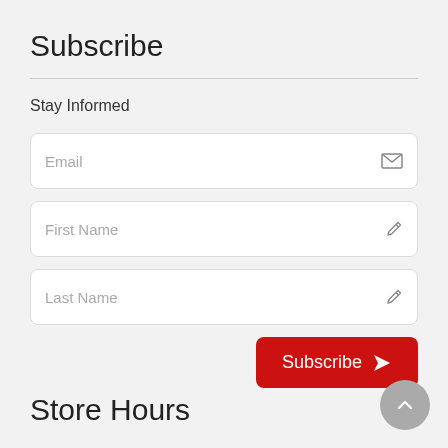Subscribe
Stay Informed
[Figure (other): Email input field with envelope icon]
[Figure (other): First Name input field with pencil icon]
[Figure (other): Last Name input field with pencil icon]
[Figure (other): Subscribe button (red) with send/arrow icon]
Store Hours
[Figure (other): Circular scroll-to-top button with chevron up icon]